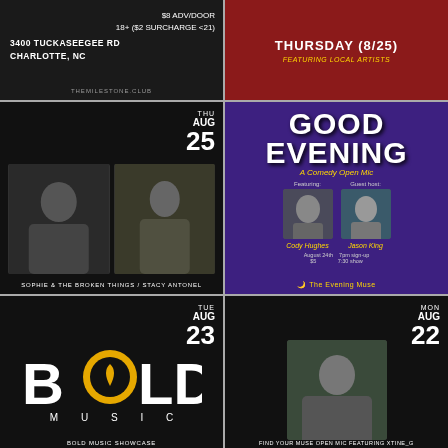[Figure (infographic): Dark event poster: 3400 Tuckaseegee Rd, Charlotte NC. $8 ADV/DOOR, 18+ ($2 Surcharge <21). THEMILESTONE.CLUB]
[Figure (infographic): Red event poster: THURSDAY (8/25) FEATURING LOCAL ARTISTS]
[Figure (infographic): Dark event poster: THU AUG 25. Photos of Sophie & The Broken Things and Stacy Antonel]
[Figure (infographic): Purple comedy poster: GOOD EVENING A Comedy Open Mic. Featuring: Cody Hughes. Guest host: Jason King. August 24th $5. 7pm sign-up 7:30 show. The Evening Muse]
[Figure (logo): Dark event poster: TUE AUG 23. BOLD MUSIC logo with guitar pick O. BOLD MUSIC SHOWCASE]
[Figure (infographic): Dark event poster: MON AUG 22. Photo of woman. FIND YOUR MUSE OPEN MIC FEATURING XTINE_G]